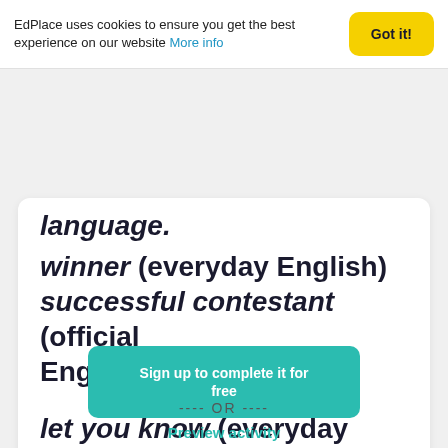EdPlace uses cookies to ensure you get the best experience on our website More info
language.
winner (everyday English)
successful contestant (official English)

let you know (everyday English)
notified (official English)
Sign up to complete it for free
---- OR ----
Preview activity